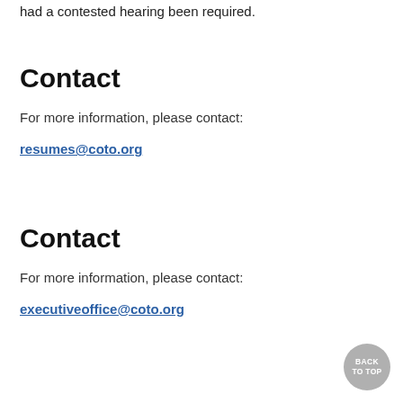had a contested hearing been required.
Contact
For more information, please contact:
resumes@coto.org
Contact
For more information, please contact:
executiveoffice@coto.org